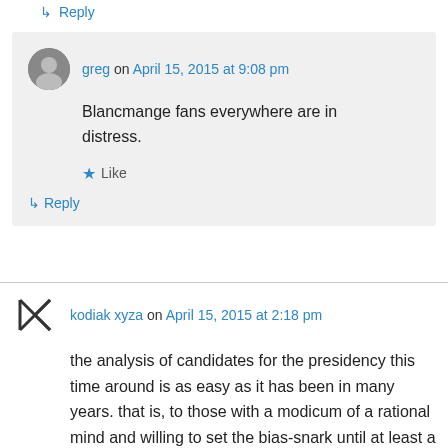↳ Reply
greg on April 15, 2015 at 9:08 pm
Blancmange fans everywhere are in distress.
★ Like
↳ Reply
kodiak xyza on April 15, 2015 at 2:18 pm
the analysis of candidates for the presidency this time around is as easy as it has been in many years. that is, to those with a modicum of a rational mind and willing to set the bias-snark until at least a sentence has been uttered